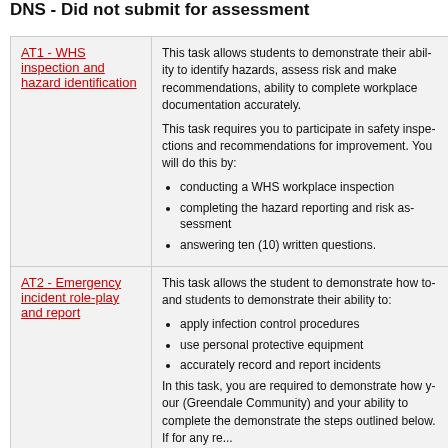DNS - Did not submit for assessment
| Task | Description |
| --- | --- |
| AT1 - WHS inspection and hazard identification | This task allows students to demonstrate their ability to identify hazards, assess risk and make recommendations, ability to complete workplace documentation accurately. This task requires you to participate in safety inspection and recommendations for improvement. You will do this by: conducting a WHS workplace inspection; completing the hazard reporting and risk assessment; answering ten (10) written questions. |
| AT2 - Emergency incident role-play and report | This task allows the student to demonstrate how to and students to demonstrate their ability to: apply infection control procedures; use personal protective equipment; accurately record and report incidents. In this task, you are required to demonstrate how you (Greendale Community) and your ability to complete the demonstrate the steps outlined below. If for any re... |